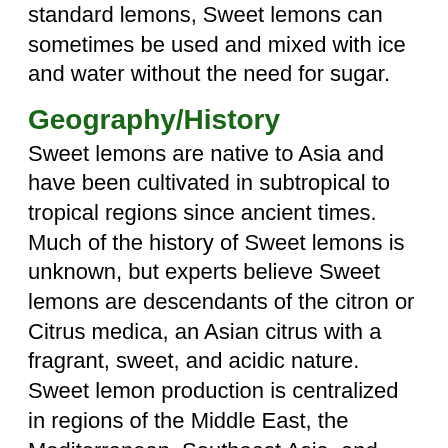standard lemons, Sweet lemons can sometimes be used and mixed with ice and water without the need for sugar.
Geography/History
Sweet lemons are native to Asia and have been cultivated in subtropical to tropical regions since ancient times. Much of the history of Sweet lemons is unknown, but experts believe Sweet lemons are descendants of the citron or Citrus medica, an Asian citrus with a fragrant, sweet, and acidic nature. Sweet lemon production is centralized in regions of the Middle East, the Mediterranean, Southeast Asia, and India. Over time, the hybrid citrus was also introduced to the New World and was planted in the United States in the 19th century and parts of Mexico and Central America. Today Sweet lemons are commercially grown on a small scale and are sold through local markets, retailers, and grocers. They are also cultivated in home gardens and are